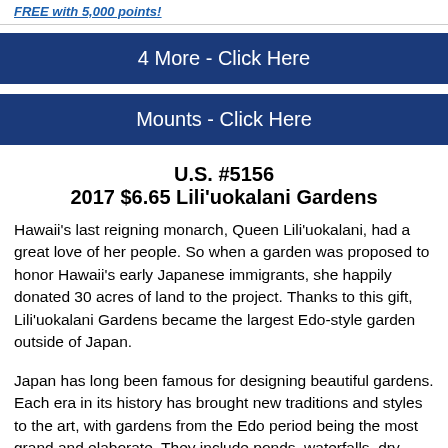FREE with 5,000 points!
4 More - Click Here
Mounts - Click Here
U.S. #5156
2017 $6.65 Lili'uokalani Gardens
Hawaii's last reigning monarch, Queen Lili'uokalani, had a great love of her people.  So when a garden was proposed to honor Hawaii's early Japanese immigrants, she happily donated 30 acres of land to the project.  Thanks to this gift, Lili'uokalani Gardens became the largest Edo-style garden outside of Japan.
Japan has long been famous for designing beautiful gardens.  Each era in its history has brought new traditions and styles to the art, with gardens from the Edo period being the most grand and elaborate.  They include ponds, waterfalls, dry stone beds, footbridges, traditional stone...